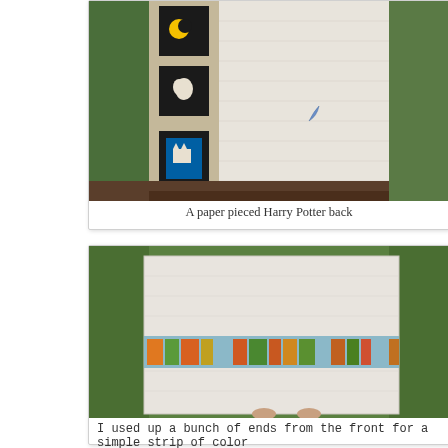[Figure (photo): A quilt back with Harry Potter themed paper pieced black-framed squares on the left side, held up outdoors against green foliage background]
A paper pieced Harry Potter back
[Figure (photo): A white quilt with a horizontal strip of colorful patchwork squares running across the middle, held up outdoors in a garden setting]
I used up a bunch of ends from the front for a simple strip of color